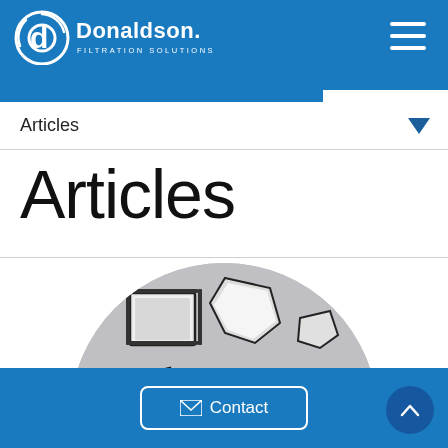Donaldson Filtration Solutions
Articles
Articles
[Figure (photo): Circular cropped photo showing various small electronic or filtration components (vents, membranes, small enclosures) scattered on a light grey surface]
Contact